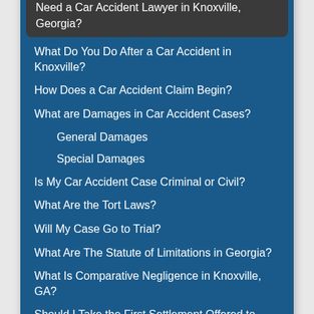Table of contents
Need a Car Accident Lawyer in Knoxville, Georgia?
What Do You Do After a Car Accident in Knoxville?
How Does a Car Accident Claim Begin?
What are Damages in Car Accident Cases?
General Damages
Special Damages
Is My Car Accident Case Criminal or Civil?
What Are the Tort Laws?
Will My Case Go to Trial?
What Are The Statute of Limitations in Georgia?
What Is Comparative Negligence in Knoxville, GA?
Should I Take the First Settlement Offered to Me?